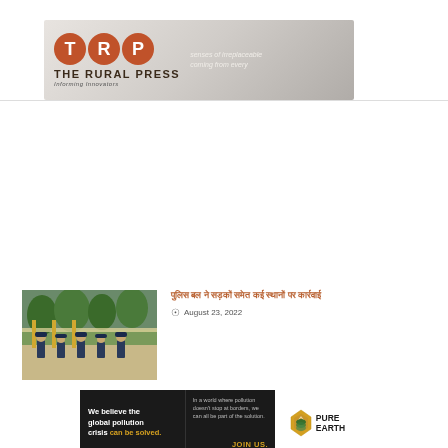[Figure (logo): The Rural Press (TRP) logo banner — circular brown T, R, P letters on grey background with tagline 'Informing Innovators']
[Figure (photo): News article thumbnail showing police officers standing on a street with gates/barriers]
पुलिस बल ने सड़कों समेत कई स्थानों पर कार्रवाई
August 23, 2022
[Figure (infographic): Pure Earth advertisement banner: 'We believe the global pollution crisis can be solved. In a world where pollution doesn't stop at borders, we can all be part of the solution. JOIN US.' with Pure Earth logo]